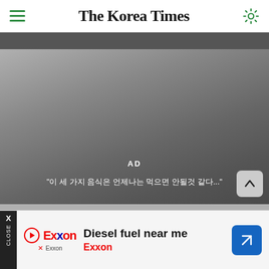The Korea Times
[Figure (screenshot): Dark grey navigation bar below header]
[Figure (screenshot): Video ad area with gradient grey background showing 'AD' label and Korean subtitle text, with scroll-up button in bottom right]
[Figure (screenshot): Advertisement banner for Exxon: 'Diesel fuel near me' with Exxon logo and blue arrow button, with close strip on left]